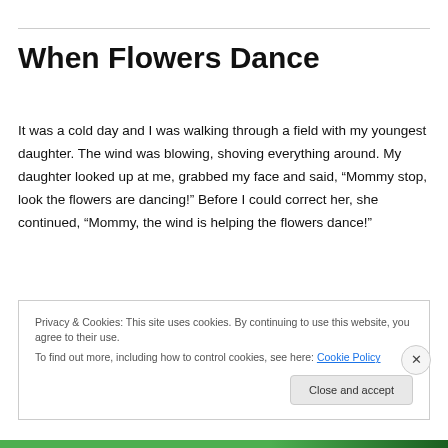When Flowers Dance
It was a cold day and I was walking through a field with my youngest daughter. The wind was blowing, shoving everything around. My daughter looked up at me, grabbed my face and said, “Mommy stop, look the flowers are dancing!” Before I could correct her, she continued, “Mommy, the wind is helping the flowers dance!”
Privacy & Cookies: This site uses cookies. By continuing to use this website, you agree to their use.
To find out more, including how to control cookies, see here: Cookie Policy